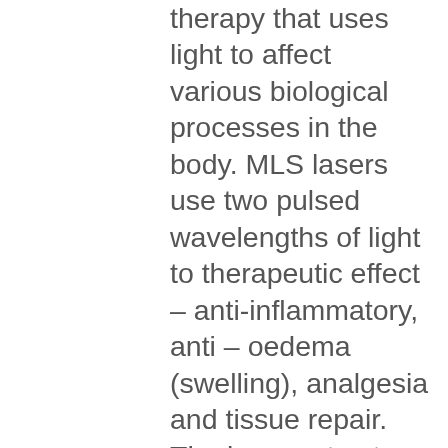therapy that uses light to affect various biological processes in the body. MLS lasers use two pulsed wavelengths of light to therapeutic effect – anti-inflammatory, anti – oedema (swelling), analgesia and tissue repair. The laser acts at cellular level and combined with vasodilation (opening up of blood vessels), inhibition of...